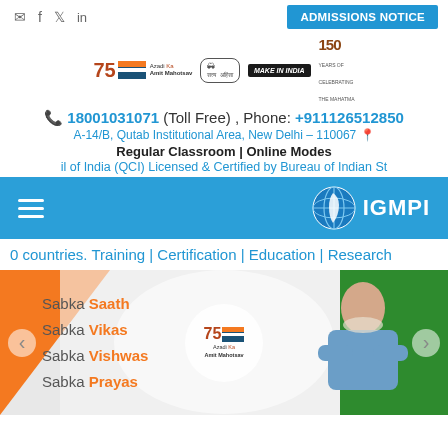ADMISSIONS NOTICE
[Figure (logo): Row of logos: Azadi Ka Amit Mahotsav 75 years, Gandhi glasses logo, Make in India lion logo, 150 years logo]
18001031071 (Toll Free) , Phone: +911126512850
A-14/B, Qutab Institutional Area, New Delhi – 110067
Regular Classroom | Online Modes
il of India (QCI) Licensed & Certified by Bureau of Indian St
[Figure (screenshot): IGMPI navigation bar with hamburger menu and IGMPI globe logo]
0 countries. Training | Certification | Education | Research
[Figure (photo): Banner with text: Sabka Saath, Sabka Vikas, Sabka Vishwas, Sabka Prayas with Azadi Ka Amit Mahotsav 75 logo and photo of PM Modi]